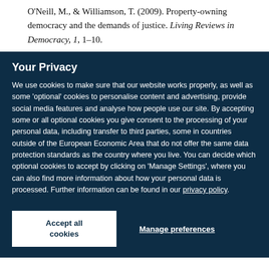O'Neill, M., & Williamson, T. (2009). Property-owning democracy and the demands of justice. Living Reviews in Democracy, 1, 1–10.
Your Privacy
We use cookies to make sure that our website works properly, as well as some 'optional' cookies to personalise content and advertising, provide social media features and analyse how people use our site. By accepting some or all optional cookies you give consent to the processing of your personal data, including transfer to third parties, some in countries outside of the European Economic Area that do not offer the same data protection standards as the country where you live. You can decide which optional cookies to accept by clicking on 'Manage Settings', where you can also find more information about how your personal data is processed. Further information can be found in our privacy policy.
Accept all cookies
Manage preferences